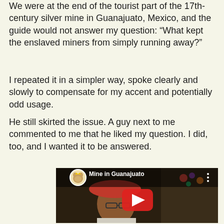We were at the end of the tourist part of the 17th-century silver mine in Guanajuato, Mexico, and the guide would not answer my question: “What kept the enslaved miners from simply running away?”
I repeated it in a simpler way, spoke clearly and slowly to compensate for my accent and potentially odd usage.
He still skirted the issue. A guy next to me commented to me that he liked my question. I did, too, and I wanted it to be answered.
[Figure (screenshot): YouTube video thumbnail showing a woman with glasses and a red/pink hat in a dark cave setting. The video title reads 'Mine in Guanajuato' with a YouTube play button overlay. A circular avatar icon of a dog wearing a crown is shown in the upper left of the video player.]